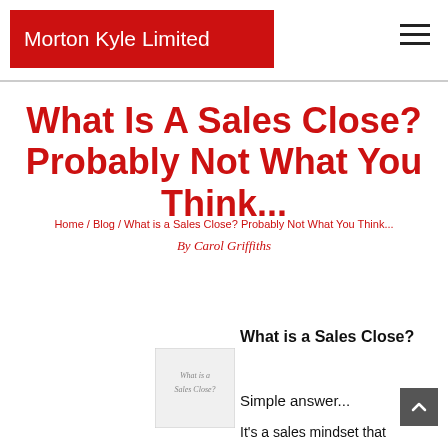Morton Kyle Limited
What Is A Sales Close? Probably Not What You Think...
Home / Blog / What is a Sales Close? Probably Not What You Think...
By Carol Griffiths
What is a Sales Close?
Simple answer...
It's a sales mindset that
[Figure (illustration): Small thumbnail image with text overlay reading 'What is a Sales Close?']